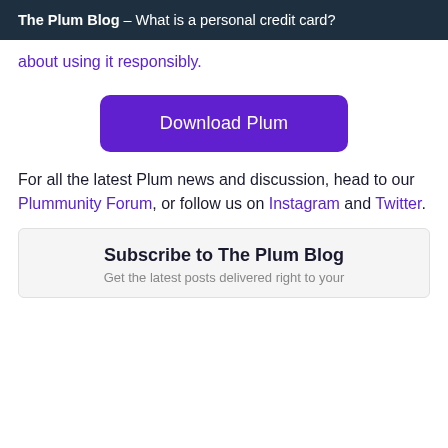The Plum Blog – What is a personal credit card?
about using it responsibly.
[Figure (other): Download Plum button — purple rounded rectangle with white text]
For all the latest Plum news and discussion, head to our Plummunity Forum, or follow us on Instagram and Twitter.
Subscribe to The Plum Blog
Get the latest posts delivered right to your